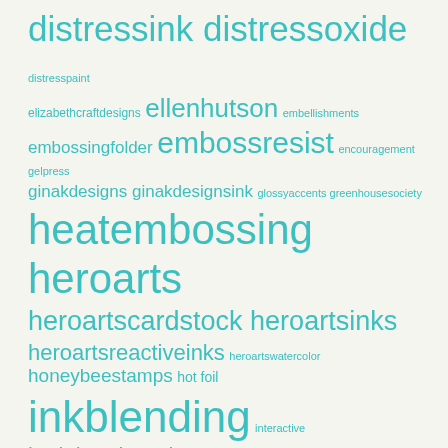[Figure (infographic): Word cloud of crafting/stamping related tags in teal/cyan color on light background. Words sized by frequency/importance. Includes: distressink, distressoxide, distresspaint, elizabethcraftdesigns, ellenhutson, embellishments, embossingfolder, embossresist, encouragement, gelpress, ginakdesigns, ginakdesignsink, glossyaccents, greenhousesociety, heatembossing, heroarts, heroartscardstock, heroartsinks, heroartsreactiveinks, heroartswatercolor, honeybeestamps, hot foil, inkblending, interactive, karinbrushmarkerpro, lawnfawn, layeringdies, layeringstamps, layeringstencils, mamaelephant, masking, missionmijellogold, myfavoritethings, mymonthlyhero, neatandtangled, nuvoshimmerpowder, ombrestamping, onelayercard, paperrosestudio, paste, patternedpaper, patternstamping]